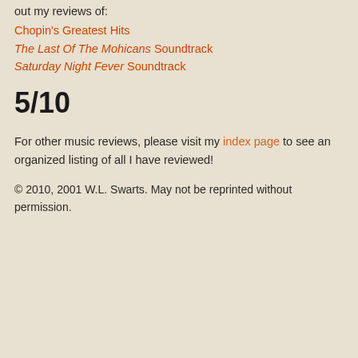out my reviews of:
Chopin's Greatest Hits
The Last Of The Mohicans Soundtrack
Saturday Night Fever Soundtrack
5/10
For other music reviews, please visit my index page to see an organized listing of all I have reviewed!
© 2010, 2001 W.L. Swarts. May not be reprinted without permission.